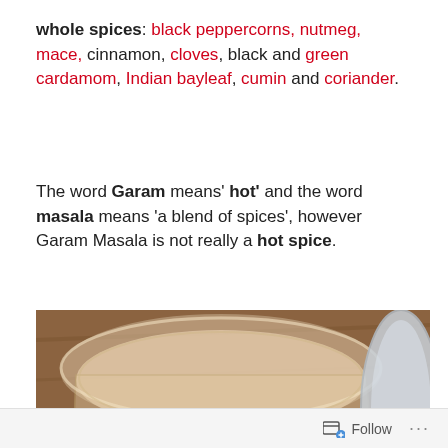whole spices: black peppercorns, nutmeg, mace, cinnamon, cloves, black and green cardamom, Indian bayleaf, cumin and coriander.
The word Garam means' hot' and the word masala means 'a blend of spices', however Garam Masala is not really a hot spice.
[Figure (photo): An open clear plastic jar containing brown garam masala powder, viewed from above at an angle, resting on a wooden surface. A white plastic lid is partially visible on the right.]
Follow ...